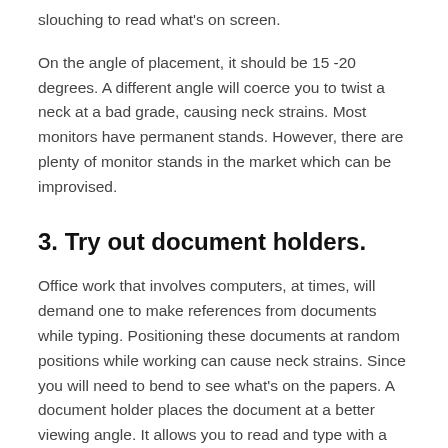slouching to read what's on screen.
On the angle of placement, it should be 15 -20 degrees. A different angle will coerce you to twist a neck at a bad grade, causing neck strains. Most monitors have permanent stands. However, there are plenty of monitor stands in the market which can be improvised.
3. Try out document holders.
Office work that involves computers, at times, will demand one to make references from documents while typing. Positioning these documents at random positions while working can cause neck strains. Since you will need to bend to see what's on the papers. A document holder places the document at a better viewing angle. It allows you to read and type with a straight neck.